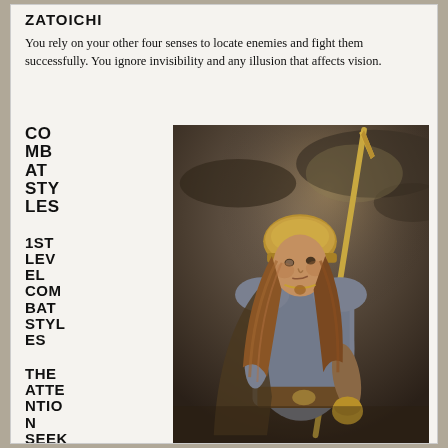ZATOICHI
You rely on your other four senses to locate enemies and fight them successfully. You ignore invisibility and any illusion that affects vision.
COMBAT STYLES
1ST LEVEL COMBAT STYLES
THE ATTENTION SEEKER (TWO
[Figure (illustration): A female warrior in chain mail armor holding a long spear/lance, wearing a gold helmet, with long reddish-brown hair, depicted in a dramatic painted style against a dark cloudy background.]